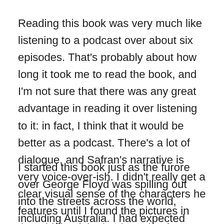Reading this book was very much like listening to a podcast over about six episodes. That's probably about how long it took me to read the book, and I'm not sure that there was any great advantage in reading it over listening to it: in fact, I think that it would be better as a podcast. There's a lot of dialogue, and Safran's narrative is very voice-over-ish. I didn't really get a clear visual sense of the characters he features until I found the pictures in the middle of the book, and I often found myself trying to flip back to work out who was who (something that an index might have made easier).
I started this book just as the furore over George Floyd was spilling out into the streets across the world, including Australia. I had expected that I would be reading a book about injustice, but the book is not as clearcut as I